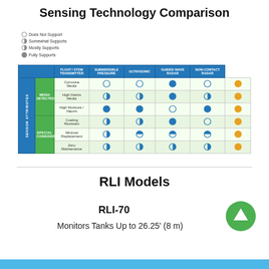Sensing Technology Comparison
[Figure (table-as-image): Sensing Technology Comparison table showing support levels for Float/Stem Transmitter, Submersible Pressure, Ultrasonic, Guided Wave Radar, and Non-Contact Radar across media types (Corrosive Media, High Debris Media, High Moisture/Vapors) and special considerations (Coating Resistant, Minimal Replacement, Zero Maintenance). Icons represent Does Not Support, Somewhat Supports, Mostly Supports, and Fully Supports.]
RLI Models
RLI-70
Monitors Tanks Up to 26.25' (8 m)